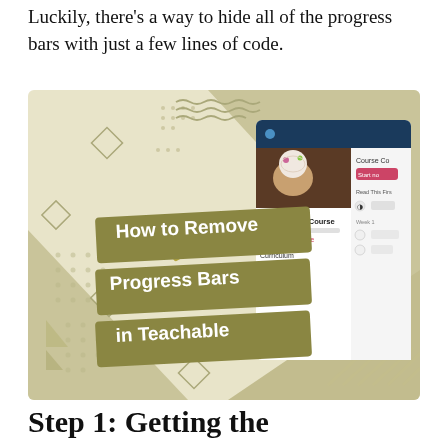Luckily, there's a way to hide all of the progress bars with just a few lines of code.
[Figure (illustration): Promotional graphic with olive/tan geometric background showing a Teachable course page screenshot on the right side and white bold text on olive-colored banner strips reading 'How to Remove Progress Bars in Teachable', with a golden arrow pointing to the progress bar in the screenshot. The Teachable screenshot shows 'The Cupcake Course' with a pink progress bar at 30% complete.]
Step 1: Getting the